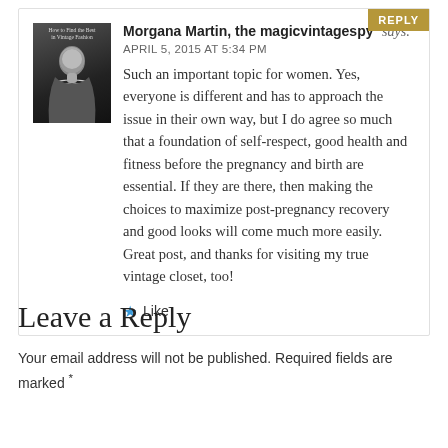Morgana Martin, the magicvintagespy says: APRIL 5, 2015 AT 5:34 PM Such an important topic for women. Yes, everyone is different and has to approach the issue in their own way, but I do agree so much that a foundation of self-respect, good health and fitness before the pregnancy and birth are essential. If they are there, then making the choices to maximize post-pregnancy recovery and good looks will come much more easily. Great post, and thanks for visiting my true vintage closet, too!
Leave a Reply
Your email address will not be published. Required fields are marked *